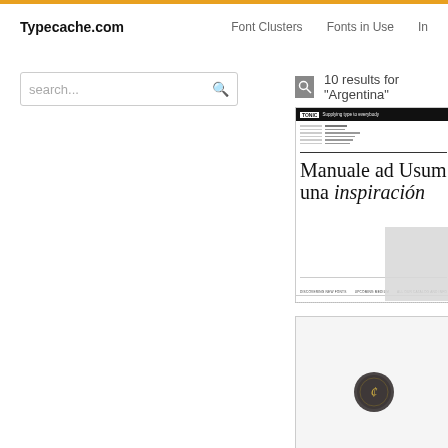Typecache.com   Font Clusters   Fonts in Use   In
search...
10 results for "Argentina"
[Figure (screenshot): A font specimen card showing 'Manuale ad Usum / una inspiración' in a serif typeface with a header bar and catalog footer text]
[Figure (screenshot): A second result card showing a dark oval seal/logo with decorative letter on light gray background]